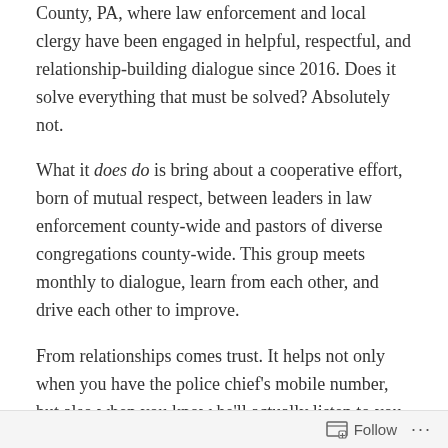County, PA, where law enforcement and local clergy have been engaged in helpful, respectful, and relationship-building dialogue since 2016. Does it solve everything that must be solved? Absolutely not.
What it does do is bring about a cooperative effort, born of mutual respect, between leaders in law enforcement county-wide and pastors of diverse congregations county-wide. This group meets monthly to dialogue, learn from each other, and drive each other to improve.
From relationships comes trust. It helps not only when you have the police chief's mobile number, but also when you know he'll actually listen to you if you call it. The feedback that chiefs have received from this dialogue has helped them clean up some unacceptable behavior on the part of
Follow